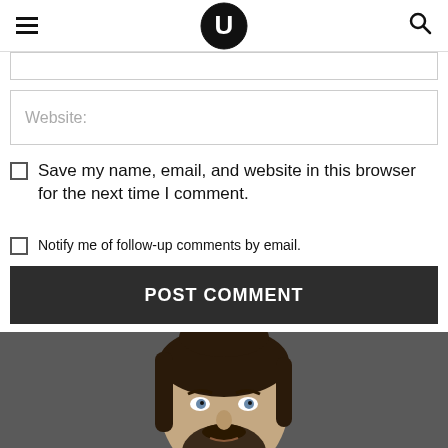U (logo)
Website:
Save my name, email, and website in this browser for the next time I comment.
Notify me of follow-up comments by email.
POST COMMENT
[Figure (photo): Portrait photo of a young man with long hair tied back, a beard, and a mustache, touching his chin thoughtfully against a dark grey background.]